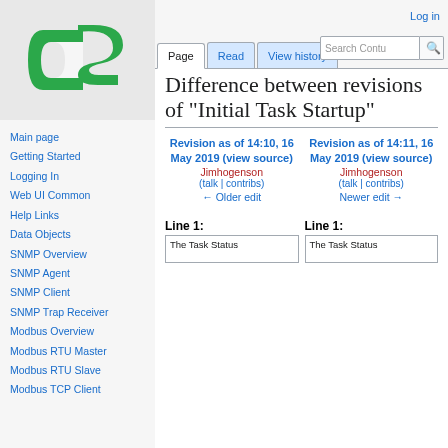[Figure (logo): CitectSCADA / CS green logo]
Main page
Getting Started
Logging In
Web UI Common
Help Links
Data Objects
SNMP Overview
SNMP Agent
SNMP Client
SNMP Trap Receiver
Modbus Overview
Modbus RTU Master
Modbus RTU Slave
Modbus TCP Client
Log in
Difference between revisions of "Initial Task Startup"
Revision as of 14:10, 16 May 2019 (view source) Jimhogenson (talk | contribs) ← Older edit
Revision as of 14:11, 16 May 2019 (view source) Jimhogenson (talk | contribs) Newer edit →
Line 1:
Line 1:
The Task Status
The Task Status